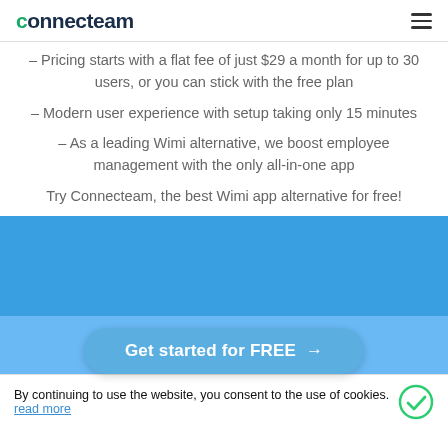connecteam
– Pricing starts with a flat fee of just $29 a month for up to 30 users, or you can stick with the free plan
– Modern user experience with setup taking only 15 minutes
– As a leading Wimi alternative, we boost employee management with the only all-in-one app
Try Connecteam, the best Wimi app alternative for free!
[Figure (other): Blue banner section background]
Get started for FREE →
By continuing to use the website, you consent to the use of cookies. read more